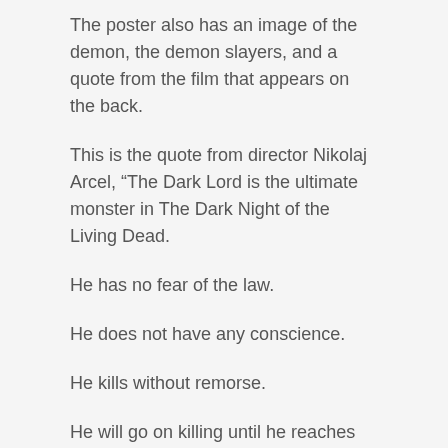The poster also has an image of the demon, the demon slayers, and a quote from the film that appears on the back.
This is the quote from director Nikolaj Arcel, “The Dark Lord is the ultimate monster in The Dark Night of the Living Dead.
He has no fear of the law.
He does not have any conscience.
He kills without remorse.
He will go on killing until he reaches his own destruction.
And so it goes on.
The poster has garnered quite a few reactions, many